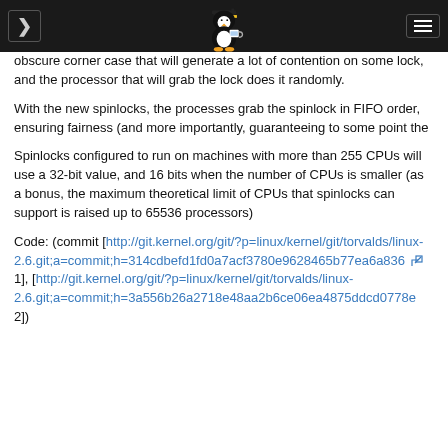Linux kernel changelog navigation header with Tux penguin logo
obscure corner case that will generate a lot of contention on some lock, and the processor that will grab the lock does it randomly.
With the new spinlocks, the processes grab the spinlock in FIFO order, ensuring fairness (and more importantly, guaranteeing to some point the
Spinlocks configured to run on machines with more than 255 CPUs will use a 32-bit value, and 16 bits when the number of CPUs is smaller (as a bonus, the maximum theoretical limit of CPUs that spinlocks can support is raised up to 65536 processors)
Code: (commit [http://git.kernel.org/git/?p=linux/kernel/git/torvalds/linux-2.6.git;a=commit;h=314cdbefd1fd0a7acf3780e9628465b77ea6a836 1], [http://git.kernel.org/git/?p=linux/kernel/git/torvalds/linux-2.6.git;a=commit;h=3a556b26a2718e48aa2b6ce06ea4875ddcd0778e 2])